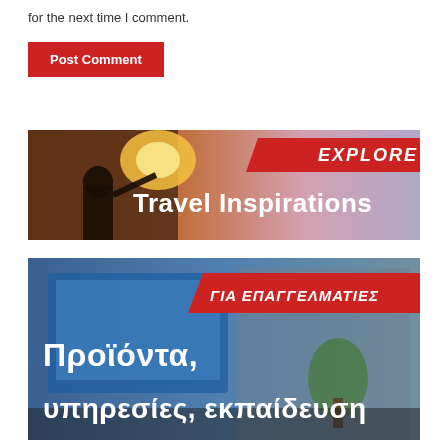for the next time I comment.
Post Comment
[Figure (illustration): Travel banner with a person holding a sky lantern at dusk. Red label 'EXPLORE' in top right. White text 'Travel Inspirations' overlaid on center.]
[Figure (illustration): Professional products/services banner in Greek. Office setting with computers. Red label 'ΓΙΑ ΕΠΑΓΓΕΛΜΑΤΙΕΣ' in top right. White Greek text 'Προϊόντα, υπηρεσίες, εκπαίδευση' overlaid.]